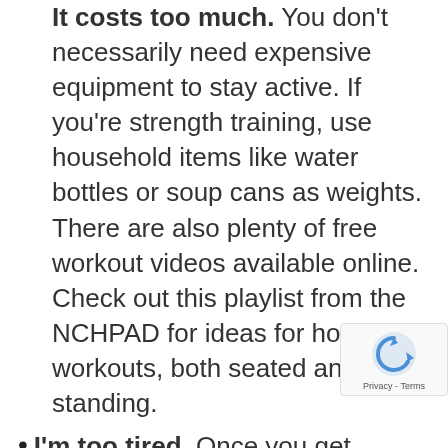It costs too much. You don't necessarily need expensive equipment to stay active. If you're strength training, use household items like water bottles or soup cans as weights. There are also plenty of free workout videos available online. Check out this playlist from the NCHPAD for ideas for home workouts, both seated and standing.
I'm too tired. Once you get moving, you will probably actually feel less tired. Physical activity can help reduce fatigue. Exercising can even help you feel less anxious and stressed.
Remaining active while staying home is very important. We hope these tips help you find an exercise routine that works for you. If you'd like